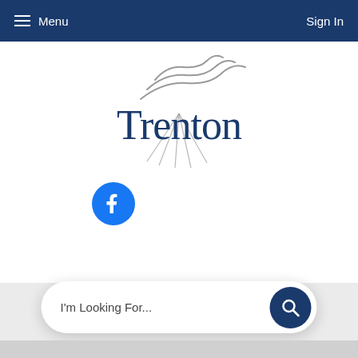Menu   Sign In
[Figure (logo): Trenton city logo with stylized wind/wave lines above the word Trenton in dark navy serif font]
[Figure (logo): Facebook circular logo icon in blue and white]
I'm Looking For...